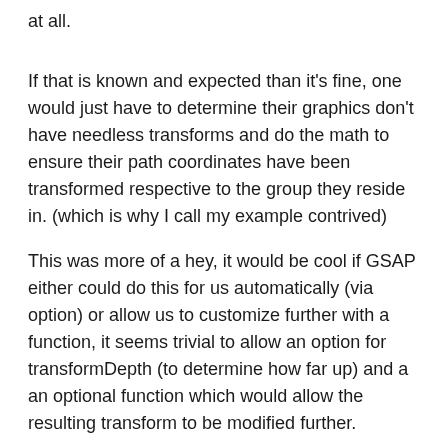at all.
If that is known and expected than it's fine, one would just have to determine their graphics don't have needless transforms and do the math to ensure their path coordinates have been transformed respective to the group they reside in. (which is why I call my example contrived)
This was more of a hey, it would be cool if GSAP either could do this for us automatically (via option) or allow us to customize further with a function, it seems trivial to allow an option for transformDepth (to determine how far up) and a an optional function which would allow the resulting transform to be modified further.